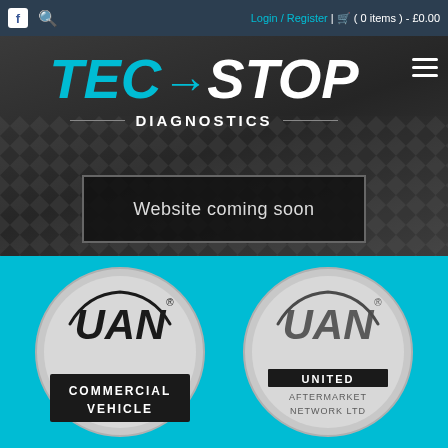Login / Register | ( 0 items ) - £0.00
[Figure (logo): TEC-STOP DIAGNOSTICS logo with cyan and white italic bold text on dark background]
Website coming soon
[Figure (logo): UAN COMMERCIAL VEHICLE circular logo on cyan background]
[Figure (logo): UAN UNITED AFTERMARKET NETWORK LTD circular logo on cyan background]